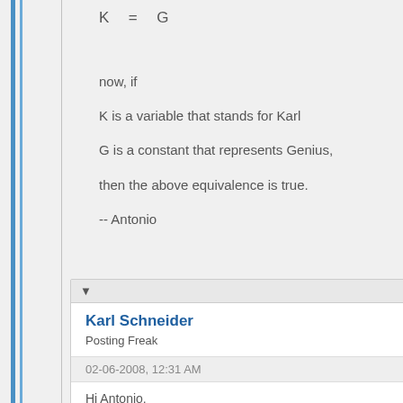now, if
K is a variable that stands for Karl
G is a constant that represents Genius,
then the above equivalence is true.
-- Antonio
Karl Schneider
Posting Freak
02-06-2008, 12:31 AM
Hi Antonio,